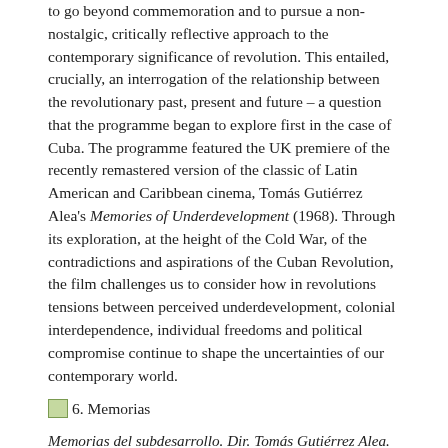to go beyond commemoration and to pursue a non-nostalgic, critically reflective approach to the contemporary significance of revolution. This entailed, crucially, an interrogation of the relationship between the revolutionary past, present and future – a question that the programme began to explore first in the case of Cuba. The programme featured the UK premiere of the recently remastered version of the classic of Latin American and Caribbean cinema, Tomás Gutiérrez Alea's Memories of Underdevelopment (1968). Through its exploration, at the height of the Cold War, of the contradictions and aspirations of the Cuban Revolution, the film challenges us to consider how in revolutions tensions between perceived underdevelopment, colonial interdependence, individual freedoms and political compromise continue to shape the uncertainties of our contemporary world.
[Figure (illustration): Small image placeholder icon followed by label '6. Memorias']
Memorias del subdesarrollo. Dir. Tomás Gutiérrez Alea. Cuba, 1968. The screening of the film was followed by a lively discussion with the audience, chaired by Durham University's Francisco-J. Hernández Adrián. The guest speakers were Michael Chanan, documentary filmmaker and influential